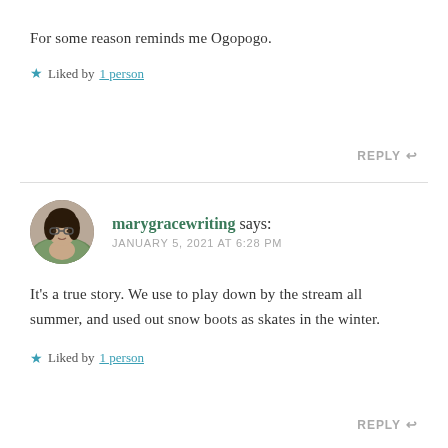For some reason reminds me Ogopogo.
Liked by 1 person
REPLY
marygracewriting says: JANUARY 5, 2021 AT 6:28 PM
It’s a true story. We use to play down by the stream all summer, and used out snow boots as skates in the winter.
Liked by 1 person
REPLY